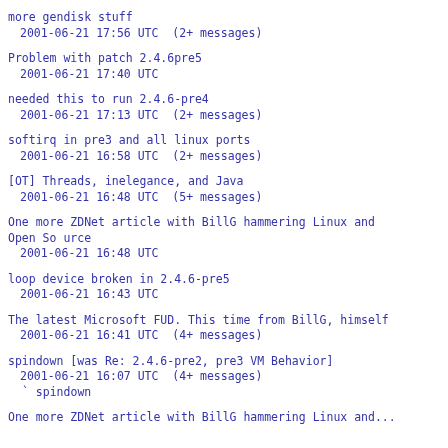more gendisk stuff
 2001-06-21 17:56 UTC  (2+ messages)
Problem with patch 2.4.6pre5
 2001-06-21 17:40 UTC
needed this to run 2.4.6-pre4
 2001-06-21 17:13 UTC  (2+ messages)
softirq in pre3 and all linux ports
 2001-06-21 16:58 UTC  (2+ messages)
[OT] Threads, inelegance, and Java
 2001-06-21 16:48 UTC  (5+ messages)
One more ZDNet article with BillG hammering Linux and Open So urce
 2001-06-21 16:48 UTC
loop device broken in 2.4.6-pre5
 2001-06-21 16:43 UTC
The latest Microsoft FUD. This time from BillG, himself
 2001-06-21 16:41 UTC  (4+ messages)
spindown [was Re: 2.4.6-pre2, pre3 VM Behavior]
 2001-06-21 16:07 UTC  (4+ messages)
` spindown
One more ZDNet article with BillG hammering Linux and...